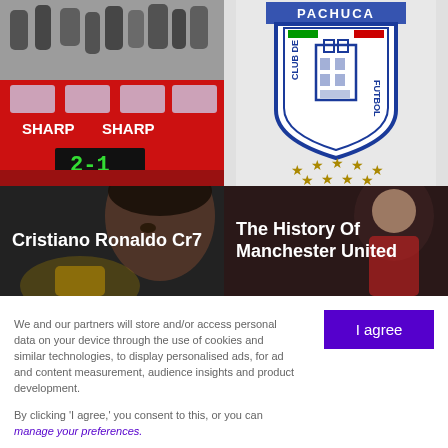[Figure (photo): Red double-decker bus with 'SHARP SHARP' banner and '2-1' scoreboard, crowd celebrating]
[Figure (logo): Club de Futbol Pachuca shield logo with tower, Italian/Mexican flag colors, and gold stars]
[Figure (photo): Cristiano Ronaldo Cr7 - close-up of player with trophy]
[Figure (photo): The History Of Manchester United - player in red jersey]
We and our partners will store and/or access personal data on your device through the use of cookies and similar technologies, to display personalised ads, for ad and content measurement, audience insights and product development.

By clicking 'I agree,' you consent to this, or you can manage your preferences.